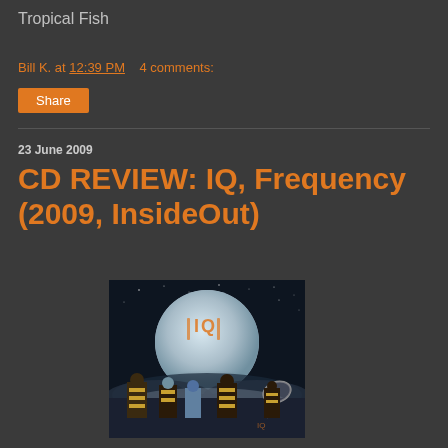Tropical Fish
Bill K. at 12:39 PM    4 comments:
Share
23 June 2009
CD REVIEW: IQ, Frequency (2009, InsideOut)
[Figure (photo): Album cover for IQ Frequency (2009, InsideOut) showing figures in striped costumes looking at a large moon in a night sky with a satellite dish]